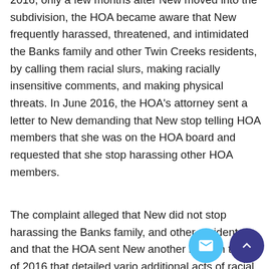2016, only a few months after New moved into the subdivision, the HOA became aware that New frequently harassed, threatened, and intimidated the Banks family and other Twin Creeks residents, by calling them racial slurs, making racially insensitive comments, and making physical threats. In June 2016, the HOA's attorney sent a letter to New demanding that New stop telling HOA members that she was on the HOA board and requested that she stop harassing other HOA members.
The complaint alleged that New did not stop harassing the Banks family, and other residents, and that the HOA sent New another letter in the fall of 2016 that detailed various additional acts of racial discrimination that